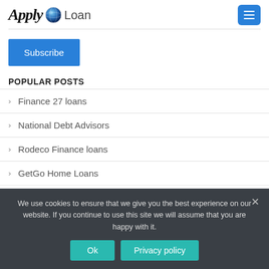Apply Loan
Subscribe
POPULAR POSTS
Finance 27 loans
National Debt Advisors
Rodeco Finance loans
GetGo Home Loans
Prestec Finance loans
We use cookies to ensure that we give you the best experience on our website. If you continue to use this site we will assume that you are happy with it.